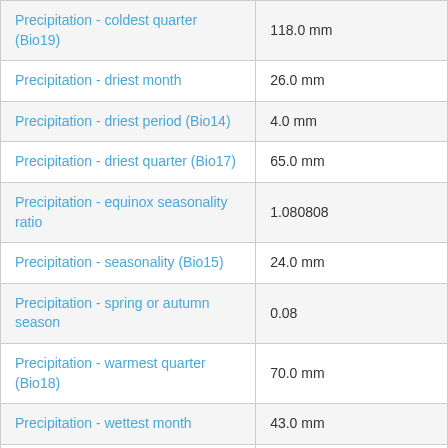| Parameter | Value |
| --- | --- |
| Precipitation - coldest quarter (Bio19) | 118.0 mm |
| Precipitation - driest month | 26.0 mm |
| Precipitation - driest period (Bio14) | 4.0 mm |
| Precipitation - driest quarter (Bio17) | 65.0 mm |
| Precipitation - equinox seasonality ratio | 1.080808 |
| Precipitation - seasonality (Bio15) | 24.0 mm |
| Precipitation - spring or autumn season | 0.08 |
| Precipitation - warmest quarter (Bio18) | 70.0 mm |
| Precipitation - wettest month | 43.0 mm |
| Precipitation - wettest period (Bio13) | 11.0 mm |